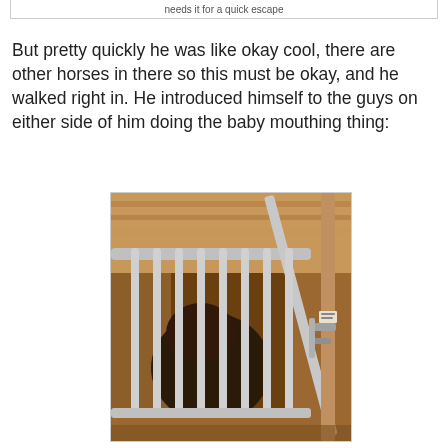needs it for a quick escape
But pretty quickly he was like okay cool, there are other horses in there so this must be okay, and he walked right in. He introduced himself to the guys on either side of him doing the baby mouthing thing:
[Figure (photo): Photo of a horse inside a stable stall, viewed through metal bars of a stall gate. The wooden stable structure is visible in the background with warm brown tones. The horse appears dark-colored, partially visible behind the vertical metal bars.]